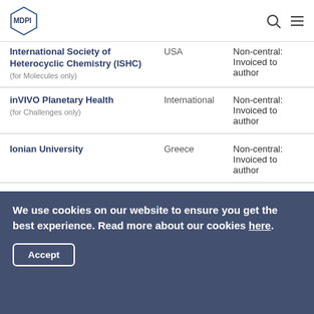MDPI
| Organization | Country | Status |
| --- | --- | --- |
| International Society of Heterocyclic Chemistry (ISHC) (for Molecules only) | USA | Non-central: Invoiced to author |
| inVIVO Planetary Health (for Challenges only) | International | Non-central: Invoiced to author |
| Ionian University | Greece | Non-central: Invoiced to author |
| Iowa State University | USA | Non-central: Invoiced to author |
We use cookies on our website to ensure you get the best experience. Read more about our cookies here.
Accept